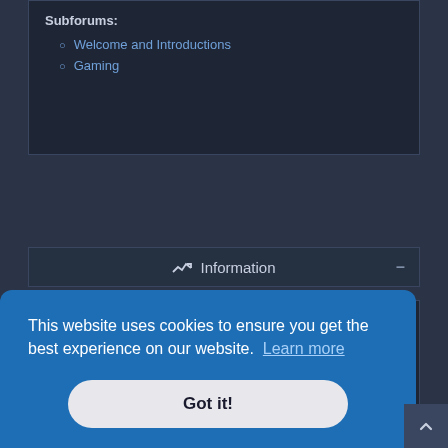Subforums:
Welcome and Introductions
Gaming
Information
Login · Register
Username:
Password:
This website uses cookies to ensure you get the best experience on our website. Learn more
Got it!
In total there are 30 users online :: 1 registered, 0 hidden and 55 guests (based on active over the last 5...